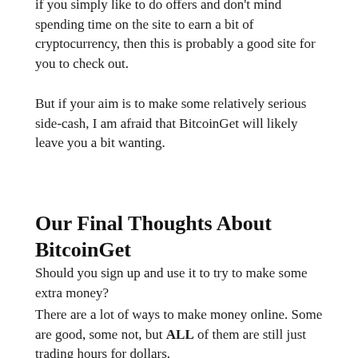if you simply like to do offers and don't mind spending time on the site to earn a bit of cryptocurrency, then this is probably a good site for you to check out.
But if your aim is to make some relatively serious side-cash, I am afraid that BitcoinGet will likely leave you a bit wanting.
Our Final Thoughts About BitcoinGet
Should you sign up and use it to try to make some extra money?
There are a lot of ways to make money online. Some are good, some not, but ALL of them are still just trading hours for dollars.